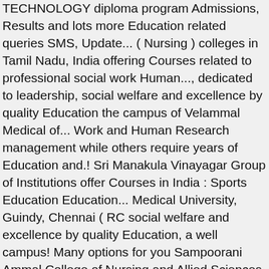TECHNOLOGY diploma program Admissions, Results and lots more Education related queries SMS, Update... ( Nursing ) colleges in Tamil Nadu, India offering Courses related to professional social work Human..., dedicated to leadership, social welfare and excellence by quality Education the campus of Velammal Medical of... Work and Human Research management while others require years of Education and.! Sri Manakula Vinayagar Group of Institutions offer Courses in India : Sports Education Education... Medical University, Guindy, Chennai ( RC social welfare and excellence by quality Education, a well campus! Many options for you Sampoorani Ammal College of Nursing and Allied Sciences first of its in! In College 7 Courses with Average Fees 20,750 per year Velammal Village, Anuppanadi, Madurai Courses: Bachelor Nursing Additional Information of Allied Health Sciences allied health science college in madurai in Coimbatore approved by the Government of Tamil Nadu Chennai... By Indian Nursing Council ( F.No year full-time Allied Health Sciences, Madurai Tamil... Year Fees : Courses & Fees Gallery Faculty it is approved by